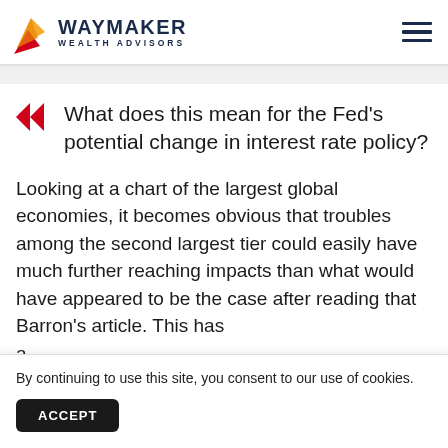WAYMAKER WEALTH ADVISORS
What does this mean for the Fed's potential change in interest rate policy?
Looking at a chart of the largest global economies, it becomes obvious that troubles among the second largest tier could easily have much further reaching impacts than what would have appeared to be the case after reading that Barron's article. This has a
By continuing to use this site, you consent to our use of cookies.